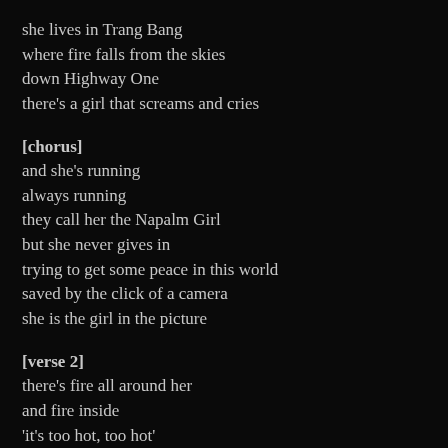she lives in Trang Bang
where fire falls from the skies
down Highway One
there's a girl that screams and cries
[chorus]
and she's running
always running
they call her the Napalm Girl
but she never gives in
trying to get some peace in this world
saved by the click of a camera
she is the girl in the picture
[verse 2]
there's fire all around her
and fire inside
'it's too hot, too hot'

she rips off her clothes
but the heat only grows